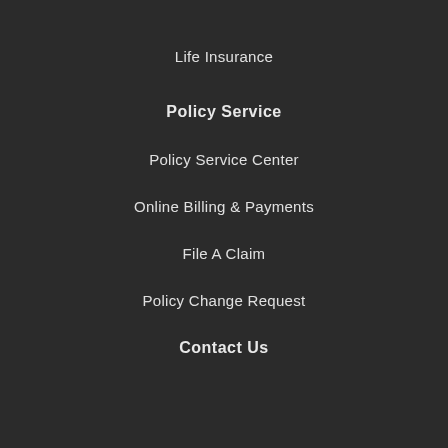Life Insurance
Policy Service
Policy Service Center
Online Billing & Payments
File A Claim
Policy Change Request
Contact Us